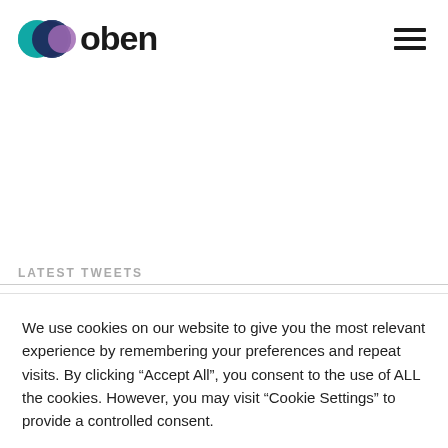[Figure (logo): Oben company logo with overlapping circles (teal, dark blue, purple) and bold dark text 'oben']
LATEST TWEETS
We use cookies on our website to give you the most relevant experience by remembering your preferences and repeat visits. By clicking “Accept All”, you consent to the use of ALL the cookies. However, you may visit "Cookie Settings" to provide a controlled consent.
Cookie Settings | Accept All